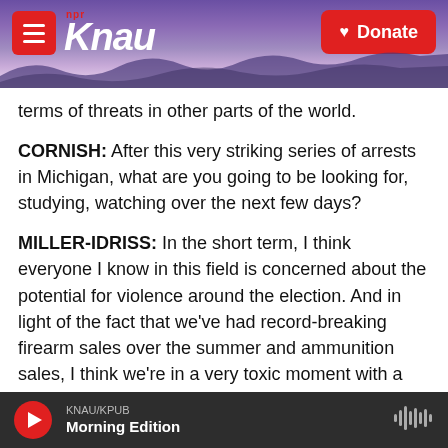KNAU NPR - Donate
terms of threats in other parts of the world.
CORNISH: After this very striking series of arrests in Michigan, what are you going to be looking for, studying, watching over the next few days?
MILLER-IDRISS: In the short term, I think everyone I know in this field is concerned about the potential for violence around the election. And in light of the fact that we've had record-breaking firearm sales over the summer and ammunition sales, I think we're in a very toxic moment with a kind of tinderbox effect for potential spontaneous
KNAU/KPUB Morning Edition